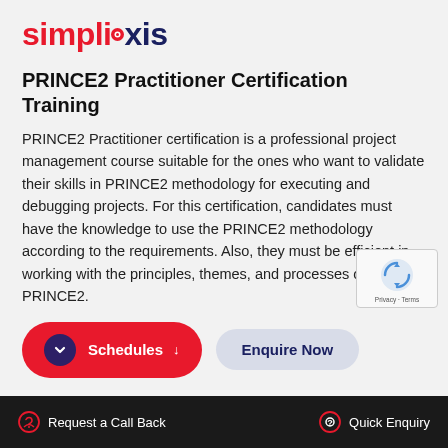[Figure (logo): Simpliaxis logo — red 'simpli' with a red dot replacing the 'a' and navy 'axis']
PRINCE2 Practitioner Certification Training
PRINCE2 Practitioner certification is a professional project management course suitable for the ones who want to validate their skills in PRINCE2 methodology for executing and debugging projects. For this certification, candidates must have the knowledge to use the PRINCE2 methodology according to the requirements. Also, they must be efficient in working with the principles, themes, and processes of PRINCE2.
[Figure (other): Two buttons: red 'Schedules' button with down arrow and dark circle icon, and a light grey 'Enquire Now' button]
Request a Call Back   Quick Enquiry